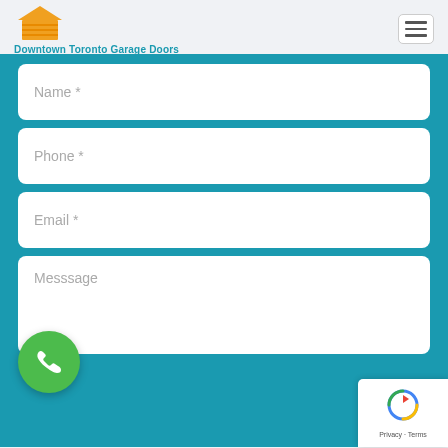[Figure (logo): Downtown Toronto Garage Doors logo with orange garage door icon and teal text]
[Figure (screenshot): Contact form with Name, Phone, Email, and Messsage fields on teal background]
[Figure (other): reCAPTCHA widget with Privacy and Terms links]